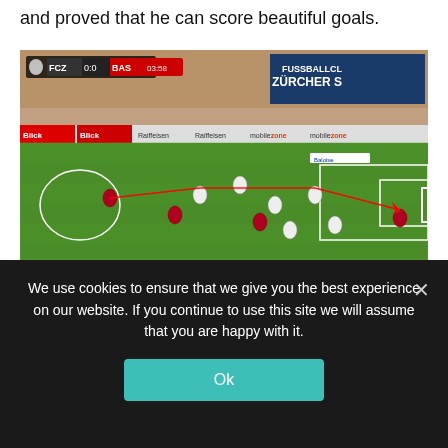and proved that he can score beautiful goals.
[Figure (screenshot): Football match screenshot showing FCZ 0:0 BAS at 03:58, with players on the pitch and stadium advertising boards visible including Blick, mobilezone, and Baloise branding. Red lines overlay the image showing player movement analysis.]
Karim Adeyemi
We use cookies to ensure that we give you the best experience on our website. If you continue to use this site we will assume that you are happy with it.